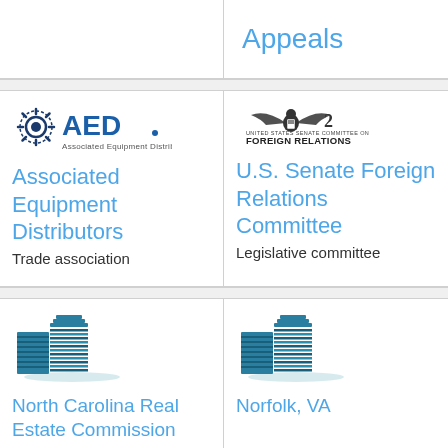Appeals
[Figure (logo): AED Associated Equipment Distributors logo]
Associated Equipment Distributors
Trade association
[Figure (logo): United States Senate Committee on Foreign Relations logo]
U.S. Senate Foreign Relations Committee
Legislative committee
[Figure (illustration): Building icon for North Carolina Real Estate Commission]
North Carolina Real Estate Commission
[Figure (illustration): Building icon for Norfolk, VA]
Norfolk, VA